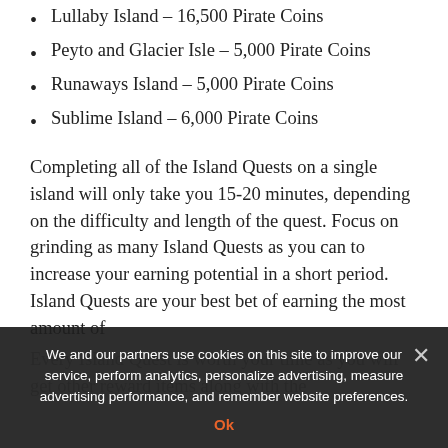Lullaby Island – 16,500 Pirate Coins
Peyto and Glacier Isle – 5,000 Pirate Coins
Runaways Island – 5,000 Pirate Coins
Sublime Island – 6,000 Pirate Coins
Completing all of the Island Quests on a single island will only take you 15-20 minutes, depending on the difficulty and length of the quest. Focus on grinding as many Island Quests as you can to increase your earning potential in a short period. Island Quests are your best bet of earning the most amount of
Every Island Quest is worth your time as you will get other reward items along with the
We and our partners use cookies on this site to improve our service, perform analytics, personalize advertising, measure advertising performance, and remember website preferences.